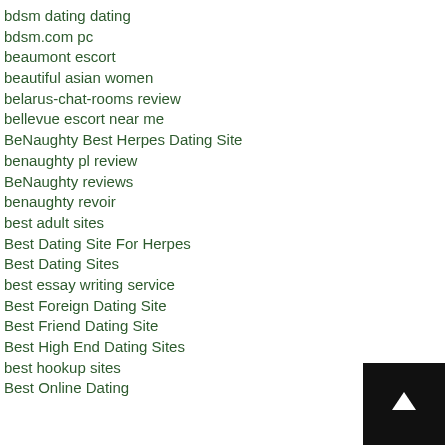bdsm dating dating
bdsm.com pc
beaumont escort
beautiful asian women
belarus-chat-rooms review
bellevue escort near me
BeNaughty Best Herpes Dating Site
benaughty pl review
BeNaughty reviews
benaughty revoir
best adult sites
Best Dating Site For Herpes
Best Dating Sites
best essay writing service
Best Foreign Dating Site
Best Friend Dating Site
Best High End Dating Sites
best hookup sites
Best Online Dating